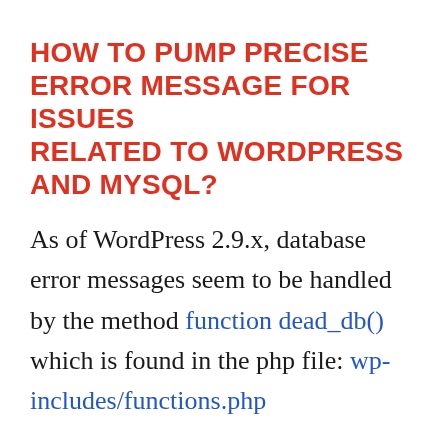HOW TO PUMP PRECISE ERROR MESSAGE FOR ISSUES RELATED TO WORDPRESS AND MYSQL?
As of WordPress 2.9.x, database error messages seem to be handled by the method function dead_db() which is found in the php file: wp-includes/functions.php